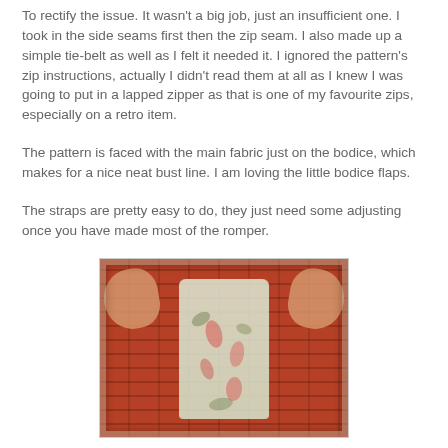To rectify the issue. It wasn't a big job, just an insufficient one. I took in the side seams first then the zip seam. I also made up a simple tie-belt as well as I felt it needed it. I ignored the pattern's zip instructions, actually I didn't read them at all as I knew I was going to put in a lapped zipper as that is one of my favourite zips, especially on a retro item.
The pattern is faced with the main fabric just on the bodice, which makes for a nice neat bust line. I am loving the little bodice flaps.
The straps are pretty easy to do, they just need some adjusting once you have made most of the romper.
[Figure (photo): Person wearing a floral/flamingo print romper with hands raised, posed against a red brick wall. Photo has an aged/torn border effect.]